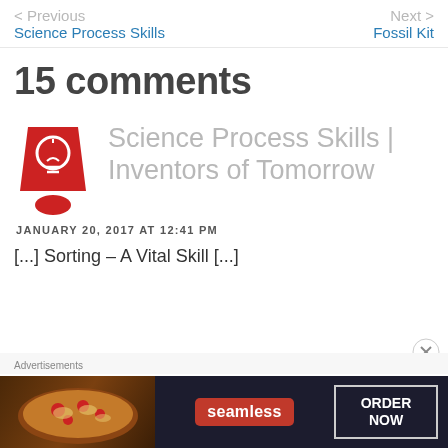< Previous  Science Process Skills    Next >  Fossil Kit
15 comments
[Figure (logo): Red exclamation mark icon with a light bulb inside the dot, representing the Inventors of Tomorrow logo]
Science Process Skills | Inventors of Tomorrow
JANUARY 20, 2017 AT 12:41 PM
[...] Sorting – A Vital Skill [...]
Advertisements
[Figure (photo): Seamless food delivery advertisement banner with pizza image, Seamless logo, and ORDER NOW button]